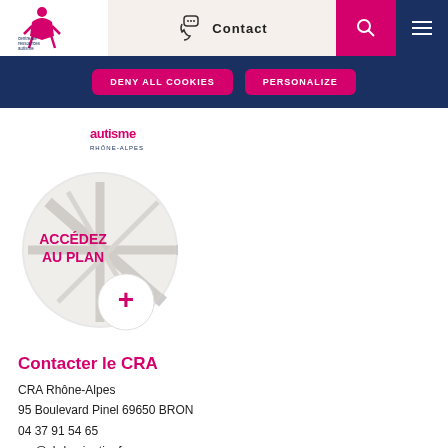[Figure (logo): Centre de Ressources Autisme Rhône-Alpes logo with pink figure icon]
Contact
[Figure (infographic): Pink search icon on magenta background]
[Figure (infographic): Hamburger menu icon on dark blue background]
DENY ALL COOKIES
PERSONALIZE
[Figure (logo): Autisme Rhône-Alpes text logo in pink and blue]
[Figure (map): Circular map image with ACCÉDEZ AU PLAN text and pink plus button]
Contacter le CRA
CRA Rhône-Alpes
95 Boulevard Pinel 69650 BRON
04 37 91 54 65
cra@ch-le-vinatier.fr